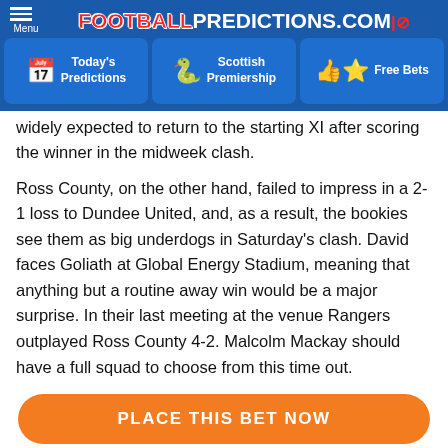FOOTBALL PREDICTIONS.COM
Today's Predictions | Scottish Premiership | Free Bets
widely expected to return to the starting XI after scoring the winner in the midweek clash.
Ross County, on the other hand, failed to impress in a 2-1 loss to Dundee United, and, as a result, the bookies see them as big underdogs in Saturday's clash. David faces Goliath at Global Energy Stadium, meaning that anything but a routine away win would be a major surprise. In their last meeting at the venue Rangers outplayed Ross County 4-2. Malcolm Mackay should have a full squad to choose from this time out.
PLACE THIS BET NOW
HIGHLIGHTED PLAYER (JON MCLAUGHLIN):